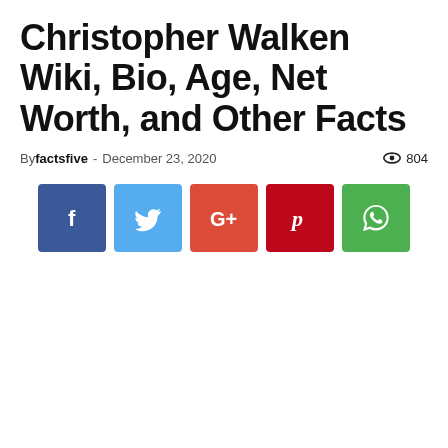Christopher Walken Wiki, Bio, Age, Net Worth, and Other Facts
By factsfive - December 23, 2020  804
[Figure (infographic): Row of five social media share buttons: Facebook (blue), Twitter (light blue), Google+ (red-orange), Pinterest (dark red), WhatsApp (green)]